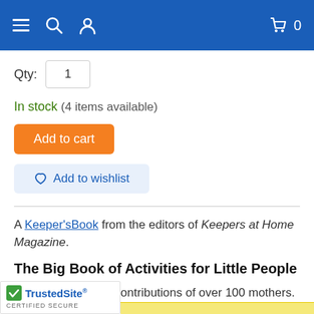Navigation bar with menu, search, profile, cart (0)
Qty: 1
In stock (4 items available)
Add to cart
Add to wishlist
A Keeper'sBook from the editors of Keepers at Home Magazine.
The Big Book of Activities for Little People
Compiled from the contributions of over 100 mothers.
TrustedSite CERTIFIED SECURE